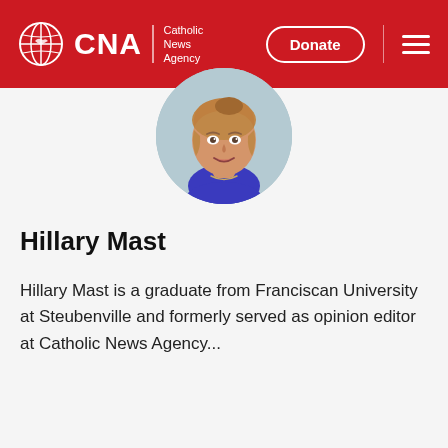CNA | Catholic News Agency — Donate
[Figure (photo): Circular profile photo of Hillary Mast, a young woman with reddish-blonde hair, smiling, wearing a blue top, against a light blue-gray background.]
Hillary Mast
Hillary Mast is a graduate from Franciscan University at Steubenville and formerly served as opinion editor at Catholic News Agency...